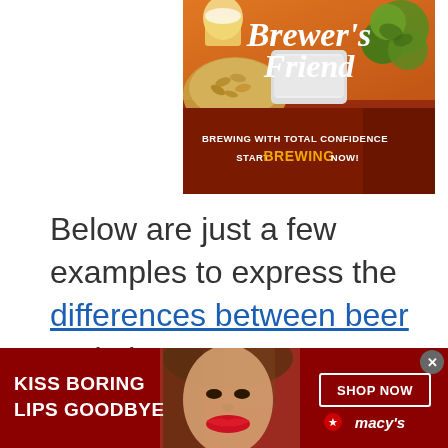[Figure (illustration): Brewer's Friend advertisement banner showing brewing ingredients (grain, hops, beer glasses) on orange/brown background with text 'BREWING WITH TOTAL CONFIDENCE START BREWING NOW!']
Below are just a few examples to express the differences between beer varieties
[Figure (illustration): Macy's advertisement banner with red background showing a woman's face with red lips, text 'KISS BORING LIPS GOODBYE', 'SHOP NOW' button, and Macy's logo with star]